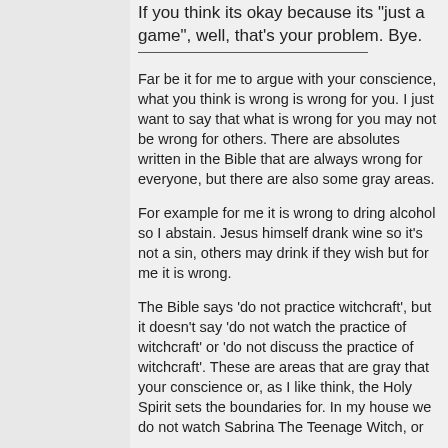If you think its okay because its "just a game", well, that's your problem. Bye.
Far be it for me to argue with your conscience, what you think is wrong is wrong for you. I just want to say that what is wrong for you may not be wrong for others. There are absolutes written in the Bible that are always wrong for everyone, but there are also some gray areas.
For example for me it is wrong to dring alcohol so I abstain. Jesus himself drank wine so it's not a sin, others may drink if they wish but for me it is wrong.
The Bible says 'do not practice witchcraft', but it doesn't say 'do not watch the practice of witchcraft' or 'do not discuss the practice of witchcraft'. These are areas that are gray that your conscience or, as I like think, the Holy Spirit sets the boundaries for. In my house we do not watch Sabrina The Teenage Witch, or